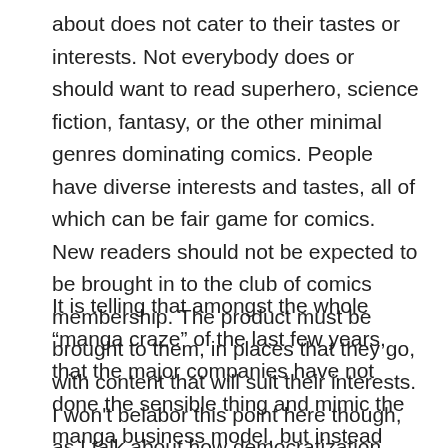about does not cater to their tastes or interests. Not everybody does or should want to read superhero, science fiction, fantasy, or the other minimal genres dominating comics. People have diverse interests and tastes, all of which can be fair game for comics. New readers should not be expected to be brought in to the club of comics membership. The product must be brought to them, in places that they go, with content that will suit their interests. I won't belabor this point here though, as I talk about how democratization across these fields could occur elsewhere.
It is telling that amongst the whole “manga craze” of the last few years, that the major companies have not done the sensible thing and mimic the manga business model, but instead have treated it as they would any other fad: by creating hollow imitations of it. So, rather than diversifying genre and expanding distribution, they have instead opted to create “American manga” by aping the stereotypic style and themes of Japanese comics. Of course, this should be expected, since the major companies’ assets are in